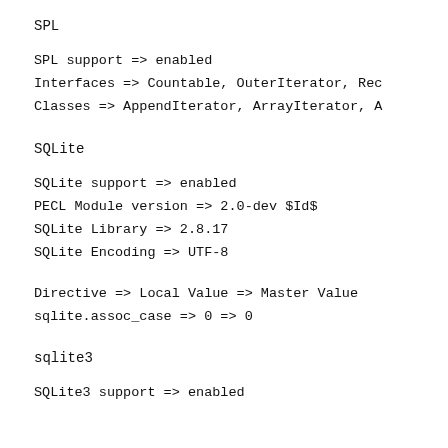SPL
SPL support => enabled
Interfaces => Countable, OuterIterator, Rec
Classes => AppendIterator, ArrayIterator, A
SQLite
SQLite support => enabled
PECL Module version => 2.0-dev $Id$
SQLite Library => 2.8.17
SQLite Encoding => UTF-8
Directive => Local Value => Master Value
sqlite.assoc_case => 0 => 0
sqlite3
SQLite3 support => enabled